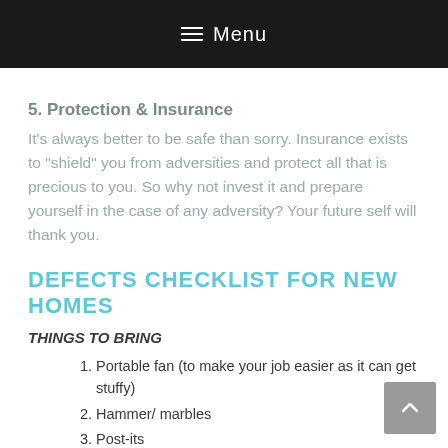Menu
5. Protection & Insurance
It's always better to be safe than sorry. Insurance exists to "shield" you from adversities and protect all that is precious to you. So why not invest it and prepare yourself in the case of any adversity? Your future self will thank you.
DEFECTS CHECKLIST FOR NEW HOMES
THINGS TO BRING
Portable fan (to make your job easier as it can get stuffy)
Hammer/ marbles
Post-its